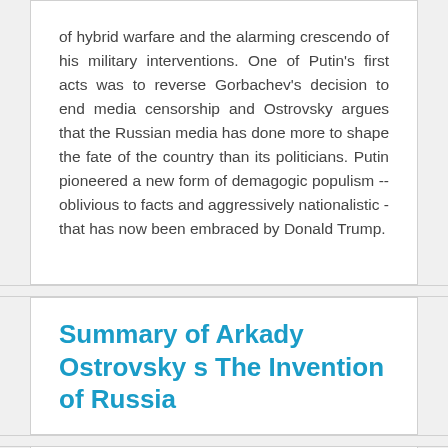of hybrid warfare and the alarming crescendo of his military interventions. One of Putin's first acts was to reverse Gorbachev's decision to end media censorship and Ostrovsky argues that the Russian media has done more to shape the fate of the country than its politicians. Putin pioneered a new form of demagogic populism --oblivious to facts and aggressively nationalistic - that has now been embraced by Donald Trump.
Summary of Arkady Ostrovsky s The Invention of Russia
[Figure (other): Teal/cyan colored rectangular bar, partially visible at the bottom of the page]